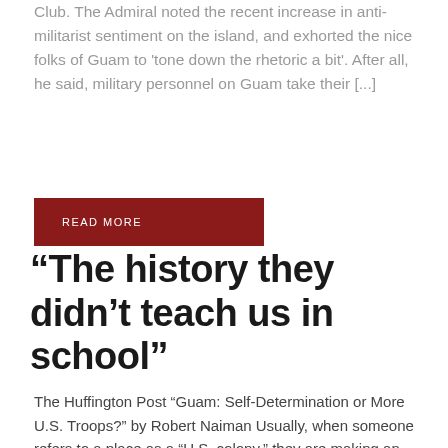Club. The Admiral noted the recent increase in anti-militarist sentiment on the island, and exhorted the nice folks of Guam to 'tone down the rhetoric a bit'. After all, he said, military personnel on Guam take their [...]
READ MORE
“The history they didn’t teach us in school”
The Huffington Post “Guam: Self-Determination or More U.S. Troops?” by Robert Naiman Usually, when someone refers to a place as a “U.S. colony,” they are making an analogy, suggesting that U.S. influence somewhere is so strong, and the indigenous residents of the place have so little effect on the governance than the other of [...]